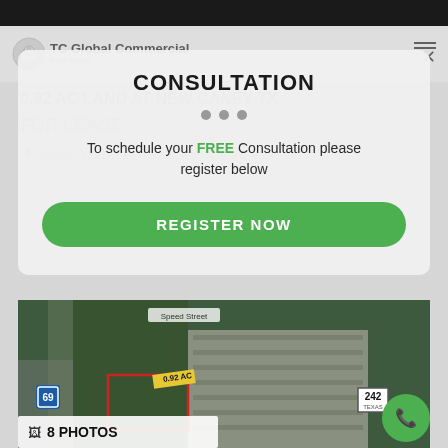[Figure (screenshot): TC Global Commercial Real Estate website header with logo and hamburger/X menu icon]
CONSULTATION
To schedule your FREE Consultation please register below
REGISTER NOW
[Figure (photo): Aerial map showing 0.92 AC land parcel near Grand Texas Theme Park, New Caney Texas, with I-69 highway and road 242 visible, labeled 0.92 AC in yellow]
8 PHOTOS